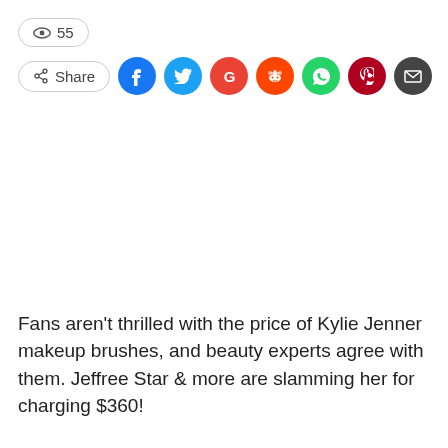[Figure (infographic): View count badge showing eye icon and '55', followed by a Share button and social media icon buttons (Facebook, Twitter, Google+, Reddit, WhatsApp, Pinterest, Email)]
Fans aren't thrilled with the price of Kylie Jenner makeup brushes, and beauty experts agree with them. Jeffree Star & more are slamming her for charging $360!